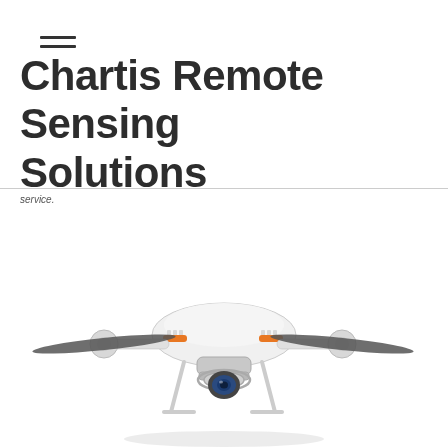≡
Chartis Remote Sensing Solutions
service.
[Figure (photo): A white quadcopter drone with orange accent rings, four propeller arms, and a camera gimbal mounted underneath, photographed from the front on a white background.]